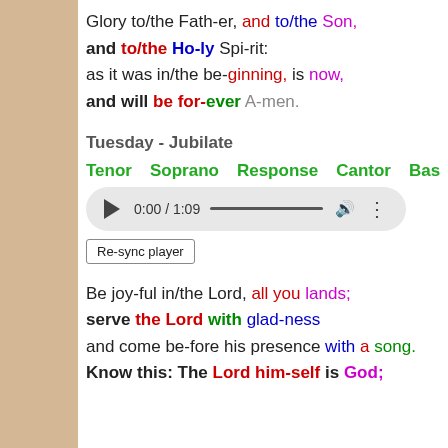Glory to/the Fath-er, and to/the Son, and to/the Ho-ly Spi-rit: as it was in/the be-ginning, is now, and will be for-ever A-men.
Tuesday - Jubilate
Tenor   Soprano   Response   Cantor   Bass
[Figure (other): Audio player showing 0:00 / 1:09 with play button, progress bar, volume and options icons]
Re-sync player
Be joy-ful in/the Lord, all you lands; serve the Lord with glad-ness and come be-fore his presence with a song. Know this: The Lord him-self is God;